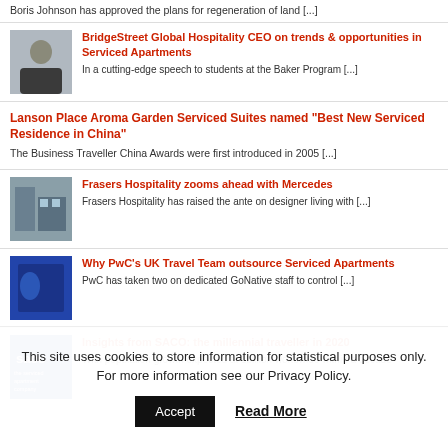Boris Johnson has approved the plans for regeneration of land [...]
[Figure (photo): Headshot of a man in a suit]
BridgeStreet Global Hospitality CEO on trends & opportunities in Serviced Apartments
In a cutting-edge speech to students at the Baker Program [...]
Lanson Place Aroma Garden Serviced Suites named "Best New Serviced Residence in China"
The Business Traveller China Awards were first introduced in 2005 [...]
[Figure (photo): Photo of a hospitality venue interior]
Frasers Hospitality zooms ahead with Mercedes
Frasers Hospitality has raised the ante on designer living with [...]
[Figure (photo): Blue building exterior photo]
Why PwC’s UK Travel Team outsource Serviced Apartments
PwC has taken two on dedicated GoNative staff to control [...]
[Figure (logo): SACO the serviced apartment company logo]
Insights from SACO: the millennial traveller in 2020
With population growth expected at 1billion worldwide within a decade
This site uses cookies to store information for statistical purposes only. For more information see our Privacy Policy.
Accept
Read More